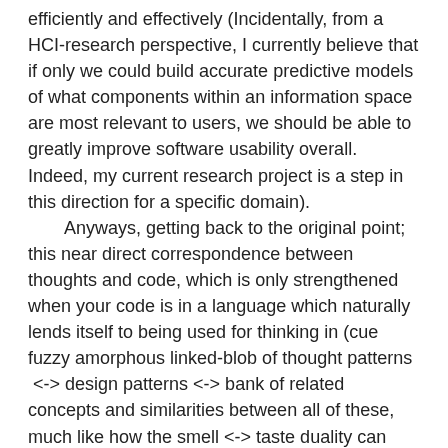efficiently and effectively (Incidentally, from a HCI-research perspective, I currently believe that if only we could build accurate predictive models of what components within an information space are most relevant to users, we should be able to greatly improve software usability overall. Indeed, my current research project is a step in this direction for a specific domain).
    Anyways, getting back to the original point; this near direct correspondence between thoughts and code, which is only strengthened when your code is in a language which naturally lends itself to being used for thinking in (cue fuzzy amorphous linked-blob of thought patterns  <-> design patterns <-> bank of related concepts and similarities between all of these, much like how the smell <-> taste duality can sometimes work), all of this combines in a fluid and organic way to contribute to productivity. In a way, one of the things I think I've really realised over the past few months is how with a lot of things/concepts, there are quite a lot of similarities and commonalities that can be drawn between some commonly unrelated things; sometimes it might just be a slight semantic difference related to the context in which they apply despite the ultimate implementation/underlying